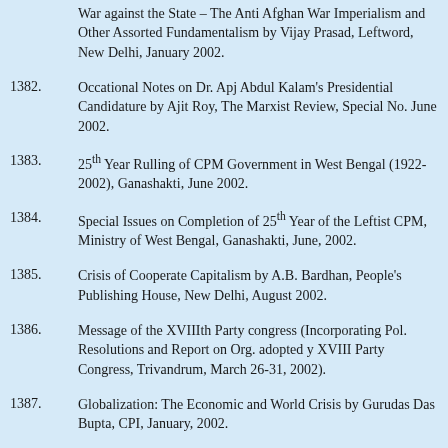War against the State – The Anti Afghan War Imperialism and Other Assorted Fundamentalism by Vijay Prasad, Leftword, New Delhi, January 2002.
1382. Occational Notes on Dr. Apj Abdul Kalam's Presidential Candidature by Ajit Roy, The Marxist Review, Special No. June 2002.
1383. 25th Year Rulling of CPM Government in West Bengal (1922-2002), Ganashakti, June 2002.
1384. Special Issues on Completion of 25th Year of the Leftist CPM, Ministry of West Bengal, Ganashakti, June, 2002.
1385. Crisis of Cooperate Capitalism by A.B. Bardhan, People's Publishing House, New Delhi, August 2002.
1386. Message of the XVIIIth Party congress (Incorporating Pol. Resolutions and Report on Org. adopted y XVIII Party Congress, Trivandrum, March 26-31, 2002).
1387. Globalization: The Economic and World Crisis by Gurudas Das Bupta, CPI, January, 2002.